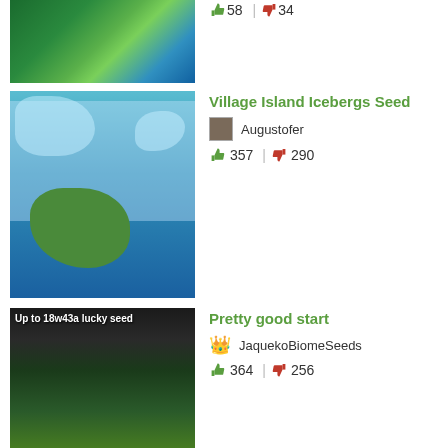[Figure (screenshot): Partial Minecraft thumbnail at top of page (cropped)]
58 | 34
[Figure (screenshot): Minecraft aerial view of island with icebergs]
Village Island Icebergs Seed
Augustofer
357 | 290
[Figure (screenshot): Minecraft dark forest seed thumbnail with text labels: Up to 18w43a lucky seed, Dark Forest, Forest, Swamp, Village, Plains]
Pretty good start
JaquekoBiomeSeeds
364 | 256
[Figure (screenshot): Blank/white thumbnail for Different biomes near spawn]
Different biomes near spawn
JaquekoBiomeSeeds
350 | 261
[Figure (screenshot): Blue thumbnail for Worst Minecraft Seed (partial, cropped at bottom)]
Worst Minecraft Seed